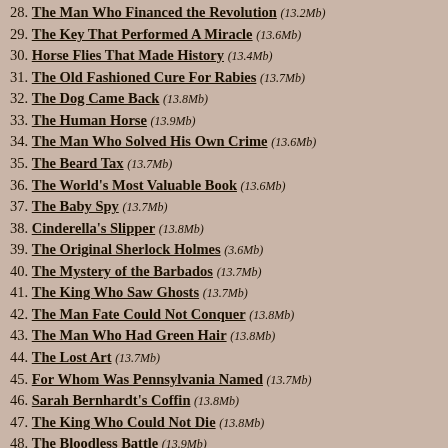28. The Man Who Financed the Revolution (13.2Mb)
29. The Key That Performed A Miracle (13.6Mb)
30. Horse Flies That Made History (13.4Mb)
31. The Old Fashioned Cure For Rabies (13.7Mb)
32. The Dog Came Back (13.8Mb)
33. The Human Horse (13.9Mb)
34. The Man Who Solved His Own Crime (13.6Mb)
35. The Beard Tax (13.7Mb)
36. The World's Most Valuable Book (13.6Mb)
37. The Baby Spy (13.7Mb)
38. Cinderella's Slipper (13.8Mb)
39. The Original Sherlock Holmes (3.6Mb)
40. The Mystery of the Barbados (13.7Mb)
41. The King Who Saw Ghosts (13.7Mb)
42. The Man Fate Could Not Conquer (13.8Mb)
43. The Man Who Had Green Hair (13.8Mb)
44. The Lost Art (13.7Mb)
45. For Whom Was Pennsylvania Named (13.7Mb)
46. Sarah Bernhardt's Coffin (13.8Mb)
47. The King Who Could Not Die (13.8Mb)
48. The Bloodless Battle (13.9Mb)
49. The First American Dice Shooter (14Mb)
50. The Mark of the Hesperus (13.8Mb)